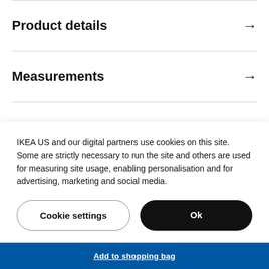Product details →
Measurements →
Reviews →
IKEA US and our digital partners use cookies on this site. Some are strictly necessary to run the site and others are used for measuring site usage, enabling personalisation and for advertising, marketing and social media.
Cookie settings | Ok
Add to shopping bag